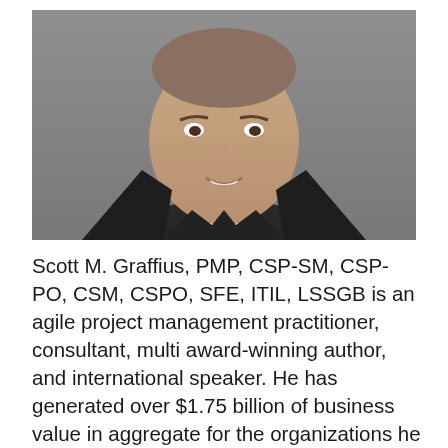[Figure (photo): Professional headshot of Scott M. Graffius, a middle-aged man in a dark suit and black tie, white shirt, smiling, against a grey background.]
Scott M. Graffius, PMP, CSP-SM, CSP-PO, CSM, CSPO, SFE, ITIL, LSSGB is an agile project management practitioner, consultant, multi award-winning author, and international speaker. He has generated over $1.75 billion of business value in aggregate for the organizations he has served. Graffius is the founder, CEO, and principal consultant at Exceptional